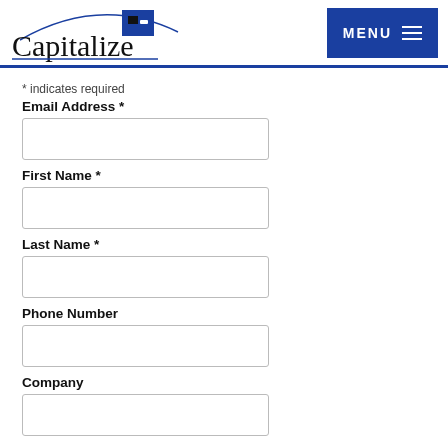Capitalize | MENU
* indicates required
Email Address *
First Name *
Last Name *
Phone Number
Company
Subscribe